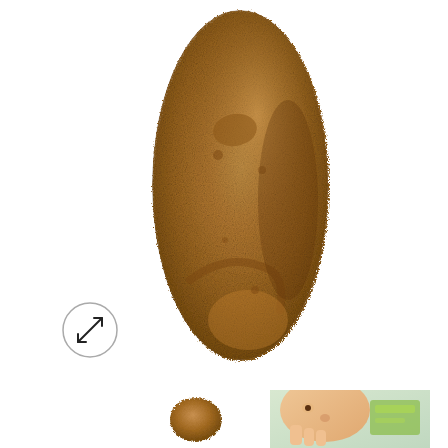[Figure (photo): Large close-up photo of a russet/brown potato with rough textured skin, elongated shape, viewed from front, on white background]
[Figure (other): Circular expand/fullscreen button icon with diagonal double-headed arrow inside a circle]
[Figure (photo): Small thumbnail photo of a brown round potato on white background]
[Figure (photo): Small thumbnail photo of a child's face holding or touching a potato, with green elements visible]